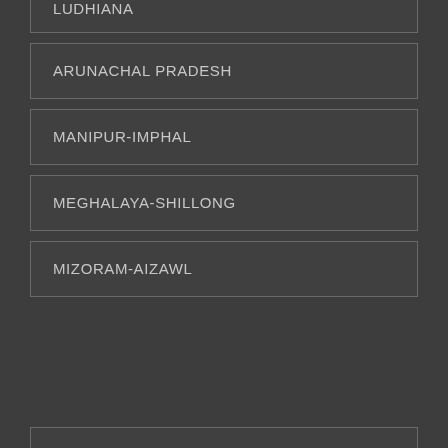LUDHIANA
ARUNACHAL PRADESH
MANIPUR-IMPHAL
MEGHALAYA-SHILLONG
MIZORAM-AIZAWL
NAGALAND-DIMAPUR
SIKKIM
TRIPURA-AGARTALA